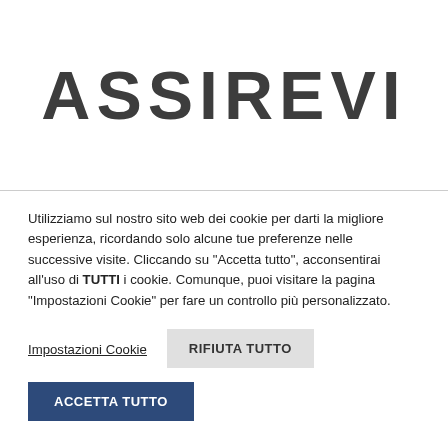[Figure (logo): ASSIREVI company logo in large bold dark grey uppercase letters]
Utilizziamo sul nostro sito web dei cookie per darti la migliore esperienza, ricordando solo alcune tue preferenze nelle successive visite. Cliccando su "Accetta tutto", acconsentirai all'uso di TUTTI i cookie. Comunque, puoi visitare la pagina "Impostazioni Cookie" per fare un controllo più personalizzato.
Impostazioni Cookie
RIFIUTA TUTTO
ACCETTA TUTTO